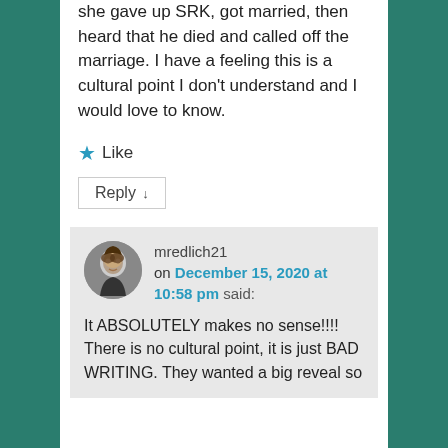she gave up SRK, got married, then heard that he died and called off the marriage. I have a feeling this is a cultural point I don't understand and I would love to know.
★ Like
Reply ↓
mredlich21 on December 15, 2020 at 10:58 pm said:
It ABSOLUTELY makes no sense!!!! There is no cultural point, it is just BAD WRITING. They wanted a big reveal so